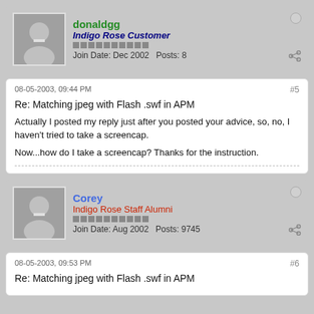donaldgg
Indigo Rose Customer
Join Date: Dec 2002   Posts: 8
08-05-2003, 09:44 PM
#5
Re: Matching jpeg with Flash .swf in APM
Actually I posted my reply just after you posted your advice, so, no, I haven't tried to take a screencap.
Now...how do I take a screencap? Thanks for the instruction.
Corey
Indigo Rose Staff Alumni
Join Date: Aug 2002   Posts: 9745
08-05-2003, 09:53 PM
#6
Re: Matching jpeg with Flash .swf in APM